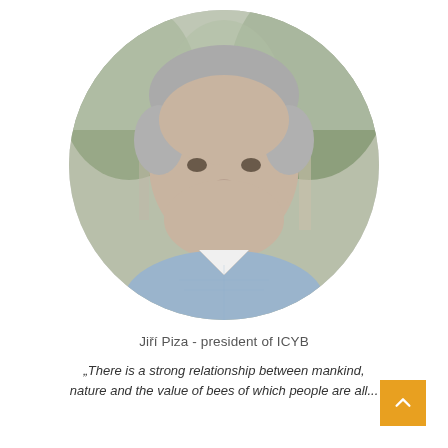[Figure (photo): Circular portrait photo of Jiří Piza, a middle-aged man with short gray hair, wearing a light blue checkered shirt, smiling, with green trees in the background.]
Jiří Piza - president of ICYB
„There is a strong relationship between mankind, nature and the value of bees of which people are all...